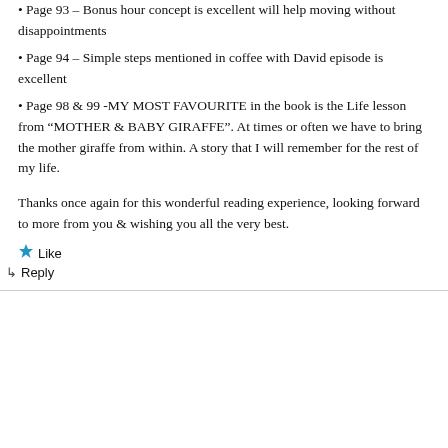Page 93 – Bonus hour concept is excellent will help moving without disappointments
Page 94 – Simple steps mentioned in coffee with David episode is excellent
Page 98 & 99 -MY MOST FAVOURITE in the book is the Life lesson from “MOTHER & BABY GIRAFFE”. At times or often we have to bring the mother giraffe from within. A story that I will remember for the rest of my life.
Thanks once again for this wonderful reading experience, looking forward to more from you & wishing you all the very best.
★ Like
↳ Reply